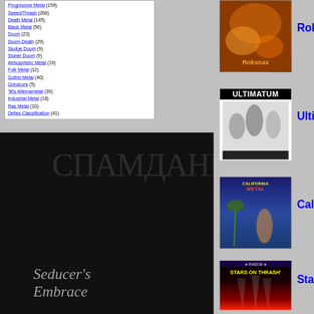Progressive Metal (159)
Speed/Thrash (268)
Death Metal (145)
Black Metal (56)
Doom (23)
Doom-Death (29)
Sludge Doom (9)
Stoner Doom (9)
Atmospheric Metal (19)
Folk Metal (12)
Gothic Metal (40)
Grindcore (5)
'90s Alternametal (39)
Industrial Metal (18)
Rap Metal (10)
Defies Classification (41)
[Figure (photo): Black background with Cyrillic-style band logo text]
[Figure (photo): Seducer's Embrace band logo text]
[Figure (photo): Roksnax album cover art]
Rok
[Figure (photo): Ultimatum album cover black and white photo]
Ulti
[Figure (photo): California Metal album cover]
Cali
[Figure (photo): Stars on Thrash album cover]
Star